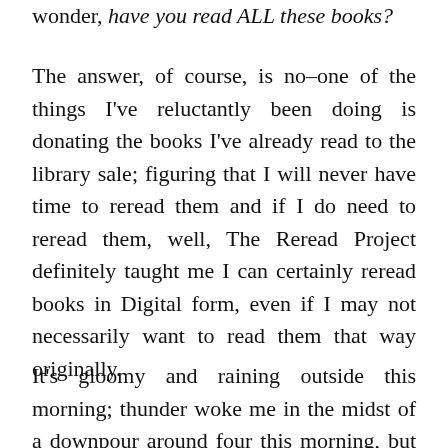wonder, have you read ALL these books?
The answer, of course, is no–one of the things I've reluctantly been doing is donating the books I've already read to the library sale; figuring that I will never have time to reread them and if I do need to reread them, well, The Reread Project definitely taught me I can certainly reread books in Digital form, even if I may not necessarily want to read them that way originally.
It's gloomy and raining outside this morning; thunder woke me in the midst of a downpour around four this morning, but the